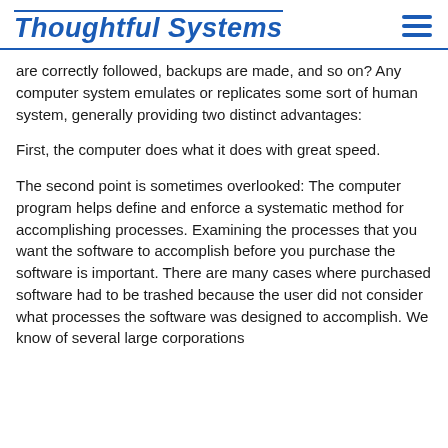Thoughtful Systems
are correctly followed, backups are made, and so on? Any computer system emulates or replicates some sort of human system, generally providing two distinct advantages:
First, the computer does what it does with great speed.
The second point is sometimes overlooked: The computer program helps define and enforce a systematic method for accomplishing processes. Examining the processes that you want the software to accomplish before you purchase the software is important. There are many cases where purchased software had to be trashed because the user did not consider what processes the software was designed to accomplish. We know of several large corporations